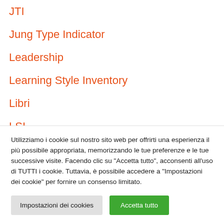JTI
Jung Type Indicator
Leadership
Learning Style Inventory
Libri
LSI
Matrici di Bochum
Matrici di Raven
Utilizziamo i cookie sul nostro sito web per offrirti una esperienza il più possibile appropriata, memorizzando le tue preferenze e le tue successive visite. Facendo clic su "Accetta tutto", acconsenti all'uso di TUTTI i cookie. Tuttavia, è possibile accedere a "Impostazioni dei cookie" per fornire un consenso limitato.
Impostazioni dei cookies | Accetta tutto